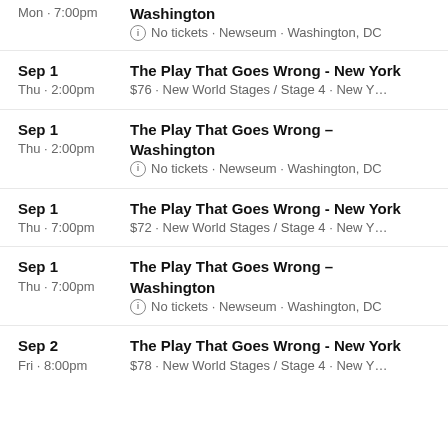Mon · 7:00pm — Washington — No tickets · Newseum · Washington, DC
Sep 1 Thu · 2:00pm — The Play That Goes Wrong - New York — $76 · New World Stages / Stage 4 · New Y…
Sep 1 Thu · 2:00pm — The Play That Goes Wrong - Washington — No tickets · Newseum · Washington, DC
Sep 1 Thu · 7:00pm — The Play That Goes Wrong - New York — $72 · New World Stages / Stage 4 · New Y…
Sep 1 Thu · 7:00pm — The Play That Goes Wrong - Washington — No tickets · Newseum · Washington, DC
Sep 2 Fri · 8:00pm — The Play That Goes Wrong - New York — $78 · New World Stages / Stage 4 · New Y…